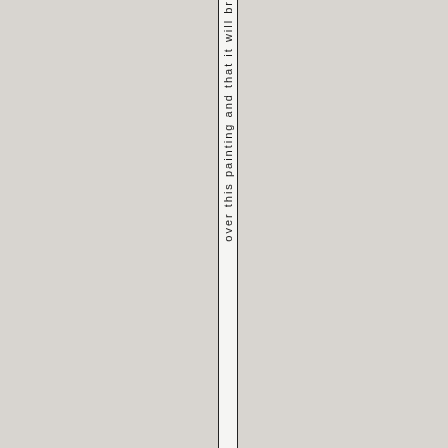over this painting and that it will br